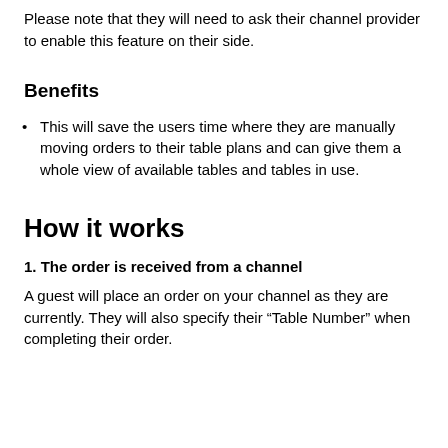Please note that they will need to ask their channel provider to enable this feature on their side.
Benefits
This will save the users time where they are manually moving orders to their table plans and can give them a whole view of available tables and tables in use.
How it works
1. The order is received from a channel
A guest will place an order on your channel as they are currently. They will also specify their “Table Number” when completing their order.